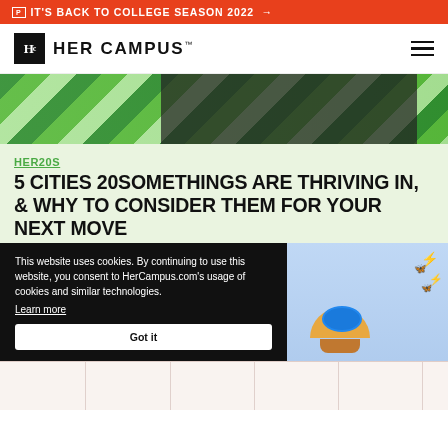🅿 IT'S BACK TO COLLEGE SEASON 2022 →
Hc HER CAMPUS™
[Figure (photo): Decorative hero image with green swirl pattern and dark center figure]
HER20S
5 CITIES 20SOMETHINGS ARE THRIVING IN, & WHY TO CONSIDER THEM FOR YOUR NEXT MOVE
[Figure (photo): Left thumbnail with flower pattern; Right thumbnail with earth globe in shell with butterflies and lightning bolts]
This website uses cookies. By continuing to use this website, you consent to HerCampus.com's usage of cookies and similar technologies. Learn more
Got it